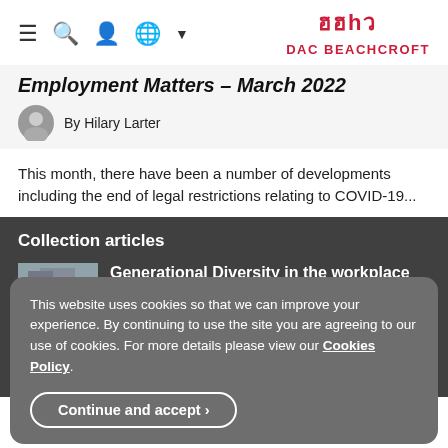DAC BEACHCROFT
Employment Matters – March 2022
By Hilary Larter
This month, there have been a number of developments including the end of legal restrictions relating to COVID-19...
Collection articles
Generational Diversity in the workplace
This website uses cookies so that we can improve your experience. By continuing to use the site you are agreeing to our use of cookies. For more details please view our Cookies Policy.
Continue and accept ›
By Hilary Larter, Zoë Wigan, Ceri Fuller